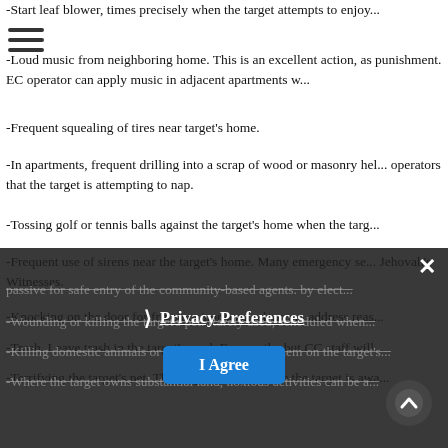-Start leaf blower, times precisely when the target attempts to enjoy...
-Loud music from neighboring home. This is an excellent action, as punishment. EC operator can apply music in adjacent apartments w...
-Frequent squealing of tires near target's home.
-In apartments, frequent drilling into a scrap of wood or masonry hel... operators that the target is attempting to nap.
-Tossing golf or tennis balls against the target's home when the targ...
-Frequent use of sirens near the target's home. Many emergency se... Jehovah's Witnesses.
-Knocking on the door for frivolous/nonsensical/wrong address reas...
-Trash. Leave trash in the target's yard. Frequently, but CC staff will...
-Terrifying the target's pet. This requires entry while the target is awa...
passive for safe entry of the community-based agents. by elect...
-Wounding or killing the target's pet. Rarely used, scheduled when...
-Killing domestic animals or wildlife and leaving them on the target's...
-Where the target owns substantial land, noxious activities can be a...
Privacy Preferences | I Agree